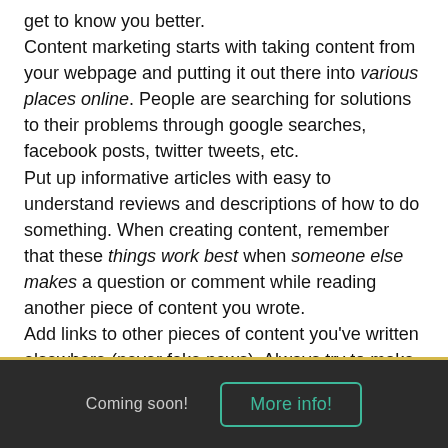get to know you better. Content marketing starts with taking content from your webpage and putting it out there into various places online. People are searching for solutions to their problems through google searches, facebook posts, twitter tweets, etc. Put up informative articles with easy to understand reviews and descriptions of how to do something. When creating content, remember that these things work best when someone else makes a question or comment while reading another piece of content you wrote. Add links to other pieces of content you've written elsewhere (never fake news). Always try to make people visit your website from another source.
Coming soon!  More info!